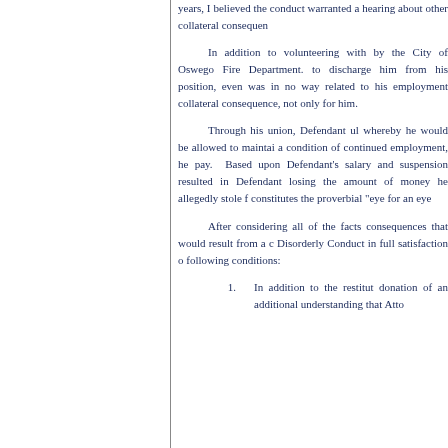years, I believed the conduct warranted a hearing about other collateral consequen...
In addition to volunteering with by the City of Oswego Fire Department. to discharge him from his position, even was in no way related to his employment collateral consequence, not only for him.
Through his union, Defendant ul whereby he would be allowed to maintai a condition of continued employment, he pay. Based upon Defendant's salary and suspension resulted in Defendant losing the amount of money he allegedly stole f constitutes the proverbial "eye for an eye
After considering all of the facts consequences that would result from a c Disorderly Conduct in full satisfaction o following conditions:
1. In addition to the restitut donation of an additional understanding that Atto...